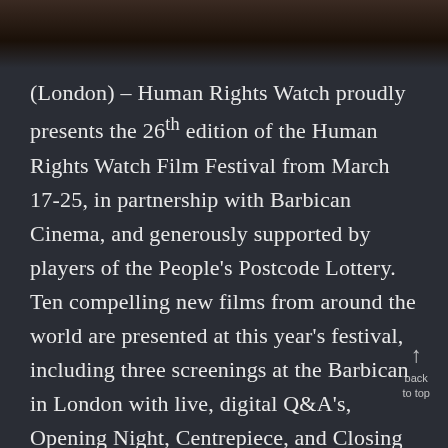[Figure (photo): Dark photograph strip at top of page showing a partially visible scene with dark warm tones]
(London) – Human Rights Watch proudly presents the 26th edition of the Human Rights Watch Film Festival from March 17-25, in partnership with Barbican Cinema, and generously supported by players of the People's Postcode Lottery. Ten compelling new films from around the world are presented at this year's festival, including three screenings at the Barbican in London with live, digital Q&A's, Opening Night, Centrepiece, and Closing Night.
The festival will stream a full digital edition across the UK and Ireland, with pre-recorded in-depth talks with filmmakers, film participants, activists, and